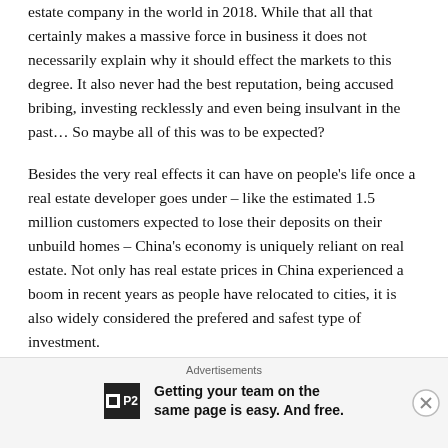estate company in the world in 2018. While that all that certainly makes a massive force in business it does not necessarily explain why it should effect the markets to this degree. It also never had the best reputation, being accused bribing, investing recklessly and even being insulvant in the past… So maybe all of this was to be expected?
Besides the very real effects it can have on people's life once a real estate developer goes under – like the estimated 1.5 million customers expected to lose their deposits on their unbuild homes – China's economy is uniquely reliant on real estate. Not only has real estate prices in China experienced a boom in recent years as people have relocated to cities, it is also widely considered the prefered and safest type of investment.
Advertisements
Getting your team on the same page is easy. And free.